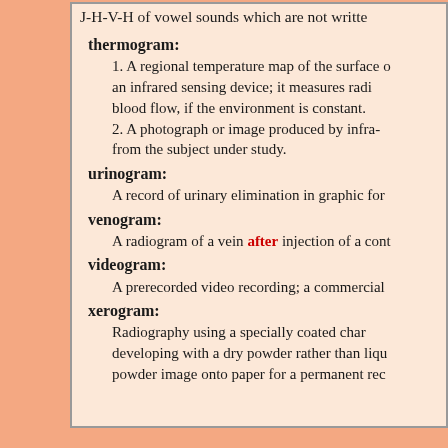J-H-V-H of vowel sounds which are not written
thermogram: 1. A regional temperature map of the surface of an infrared sensing device; it measures radia blood flow, if the environment is constant. 2. A photograph or image produced by infra- from the subject under study.
urinogram: A record of urinary elimination in graphic form
venogram: A radiogram of a vein after injection of a contrast
videogram: A prerecorded video recording; a commercial v
xerogram: Radiography using a specially coated charged plate developing with a dry powder rather than liquid powder image onto paper for a permanent record